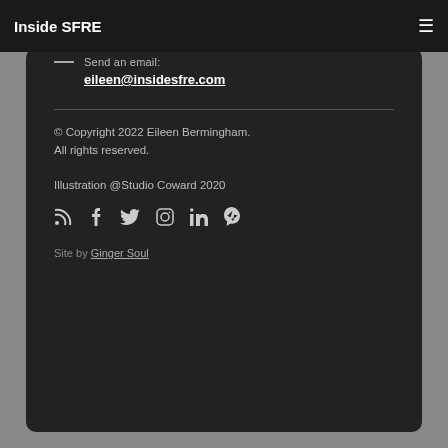Inside SFRE
Send an Email:
eileen@insidesfre.com
© Copyright 2022 Eileen Bermingham.
All rights reserved.

Illustration @Studio Coward 2020
[Figure (other): Social media icons row: RSS, Facebook, Twitter, Instagram, LinkedIn, Yelp]
Site by Ginger Soul